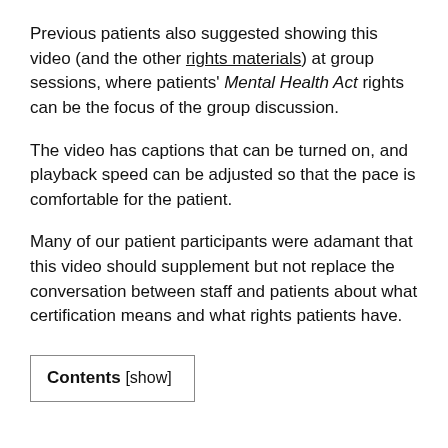Previous patients also suggested showing this video (and the other rights materials) at group sessions, where patients' Mental Health Act rights can be the focus of the group discussion.
The video has captions that can be turned on, and playback speed can be adjusted so that the pace is comfortable for the patient.
Many of our patient participants were adamant that this video should supplement but not replace the conversation between staff and patients about what certification means and what rights patients have.
Contents [show]